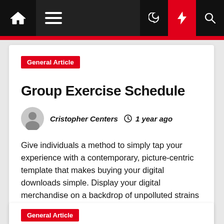Navigation bar with home, menu, dark mode, lightning, and search icons
General Article
Group Exercise Schedule
Cristopher Centers  1 year ago
Give individuals a method to simply tap your experience with a contemporary, picture-centric template that makes buying your digital downloads simple. Display your digital merchandise on a backdrop of unpolluted strains and purposeful pops of colour that drives individuals's attention right where you want it. It can detect actions massive […]